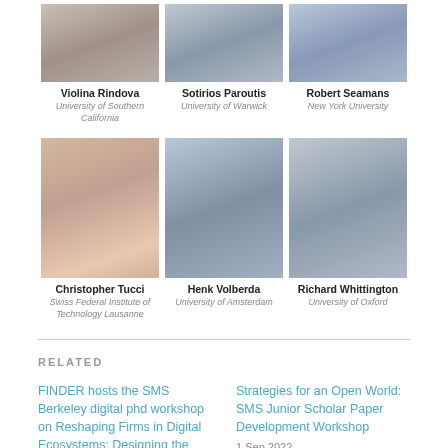[Figure (photo): Headshot of Violina Rindova]
Violina Rindova
University of Southern California
[Figure (photo): Headshot of Sotirios Paroutis]
Sotirios Paroutis
University of Warwick
[Figure (photo): Headshot of Robert Seamans]
Robert Seamans
New York University
[Figure (photo): Headshot of Christopher Tucci]
Christopher Tucci
Swiss Federal Institute of Technology Lausanne
[Figure (photo): Headshot of Henk Volberda]
Henk Volberda
University of Amsterdam
[Figure (photo): Headshot of Richard Whittington]
Richard Whittington
University of Oxford
RELATED
FINDER hosts the SMS Berkeley digital phd workshop on Reshaping Firms in Digital Ecosystems: Designing the Future
Strategies for an Open World: SMS Junior Scholar Paper Development Workshop
1 Sep 2022
In "Geen categorie"